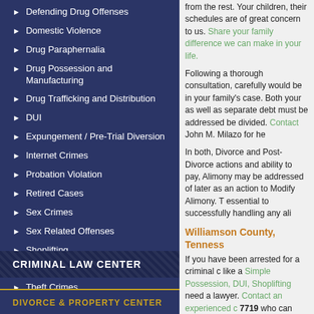Defending Drug Offenses
Domestic Violence
Drug Paraphernalia
Drug Possession and Manufacturing
Drug Trafficking and Distribution
DUI
Expungement / Pre-Trial Diversion
Internet Crimes
Probation Violation
Retired Cases
Sex Crimes
Sex Related Offenses
Shoplifting
Simple Possession
Theft Crimes
CRIMINAL LAW CENTER
DIVORCE & PROPERTY CENTER
from the rest. Your children, their schedules are of great concern to us. Share your family difference we can make in your life.
Following a thorough consultation, carefully would be in your family's case. Both your as well as separate debt must be addressed be divided. Contact John M. Milazo for he
In both, Divorce and Post-Divorce actions and ability to pay, Alimony may be addressed of later as an action to Modify Alimony. T essential to successfully handling any ali
Williamson County, Tenness
If you have been arrested for a criminal c like a Simple Possession, DUI, Shoplifting need a lawyer. Contact an experienced c 7719 who can help you protect your right as a person who deserves or is entitled t
Columbia TN Criminal Defen
Maury County is a small town community judge has his or her own nuances. If you County or Maury County Tennessee dep Spring Hill or other community in Maury